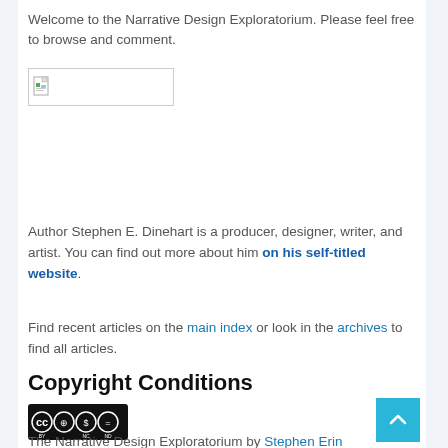Welcome to the Narrative Design Exploratorium. Please feel free to browse and comment.
[Figure (illustration): Broken/missing image placeholder with small icon]
Author Stephen E. Dinehart is a producer, designer, writer, and artist. You can find out more about him on his self-titled website.
Find recent articles on the main index or look in the archives to find all articles.
Copyright Conditions
[Figure (logo): Creative Commons BY NC ND license badge]
The Narrative Design Exploratorium by Stephen Erin